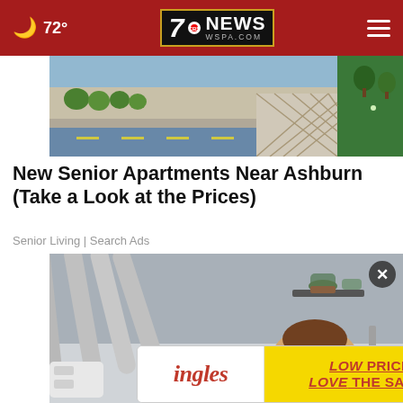72° | 7NEWS WSPA.COM
[Figure (photo): Photo of a street with apartments, shrubs, road, green wall, and lattice fencing]
New Senior Apartments Near Ashburn (Take a Look at the Prices)
Senior Living | Search Ads
[Figure (photo): Photo of a smiling woman lying down surrounded by grey medical/beauty machine tubes]
[Figure (advertisement): Ingles ad: LOW PRICES... LOVE THE SAVINGS!]